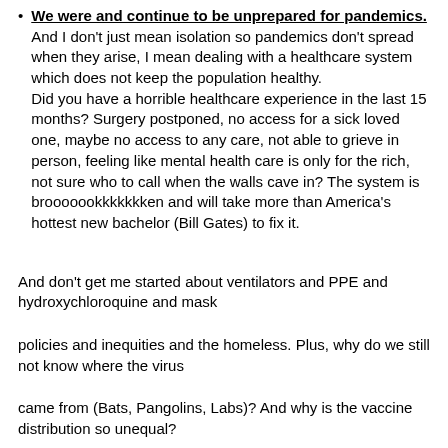We were and continue to be unprepared for pandemics. And I don't just mean isolation so pandemics don't spread when they arise, I mean dealing with a healthcare system which does not keep the population healthy.
Did you have a horrible healthcare experience in the last 15 months? Surgery postponed, no access for a sick loved one, maybe no access to any care, not able to grieve in person, feeling like mental health care is only for the rich, not sure who to call when the walls cave in? The system is brooooookkkkkkken and will take more than America's hottest new bachelor (Bill Gates) to fix it.
And don't get me started about ventilators and PPE and hydroxychloroquine and mask
policies and inequities and the homeless. Plus, why do we still not know where the virus
came from (Bats, Pangolins, Labs)? And why is the vaccine distribution so unequal?